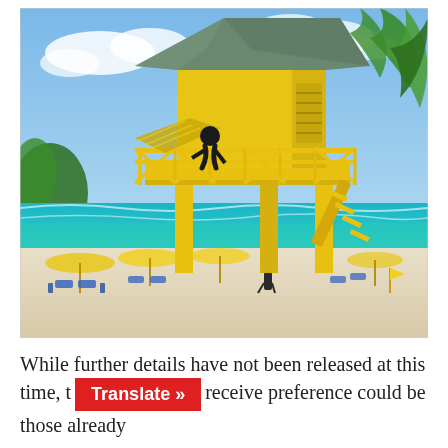[Figure (photo): A bright yellow lifeguard tower or beach watchtower on stilts at a tropical beach. The structure has a hexagonal upper cabin with a blue-grey pointed roof, yellow railings and balcony, and a staircase on the right side. A person in dark clothing is on the balcony. In the background: turquoise ocean water, white sandy beach, colorful beach umbrellas (yellow and blue), lounge chairs, a person walking on the beach, and green palm fronds visible on the right. Blue sky with white clouds.]
While further details have not been released at this time, t [Translate »] receive preference could be those already